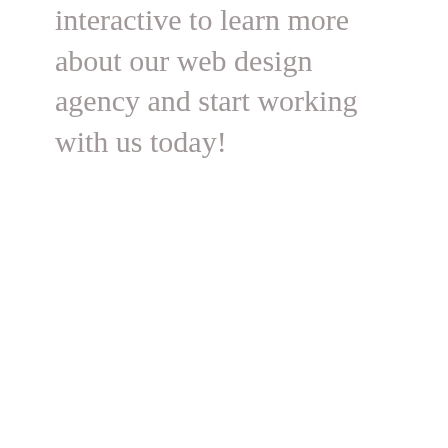interactive to learn more about our web design agency and start working with us today!